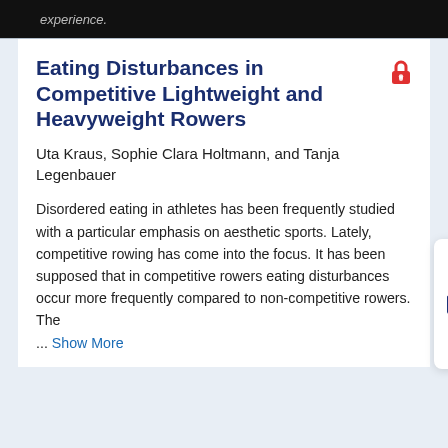experience.
Eating Disturbances in Competitive Lightweight and Heavyweight Rowers
Uta Kraus, Sophie Clara Holtmann, and Tanja Legenbauer
Disordered eating in athletes has been frequently studied with a particular emphasis on aesthetic sports. Lately, competitive rowing has come into the focus. It has been supposed that in competitive rowers eating disturbances occur more frequently compared to non-competitive rowers. The
... Show More